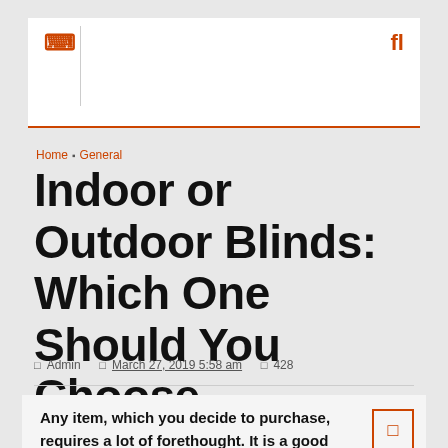☰  fl
Home › General
Indoor or Outdoor Blinds: Which One Should You Choose
⊡ Admin  ⊡ March 27, 2019 5:58 am  ⊡ 428
Any item, which you decide to purchase, requires a lot of forethought. It is a good idea to consider a